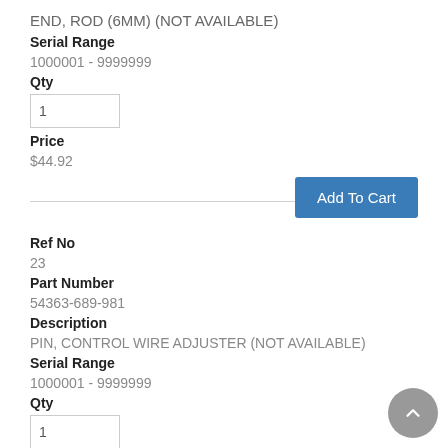END, ROD (6MM) (NOT AVAILABLE)
Serial Range
1000001 - 9999999
Qty
1
Price
$44.92
[Figure (other): Add To Cart button]
Ref No
23
Part Number
54363-689-981
Description
PIN, CONTROL WIRE ADJUSTER (NOT AVAILABLE)
Serial Range
1000001 - 9999999
Qty
1
Price